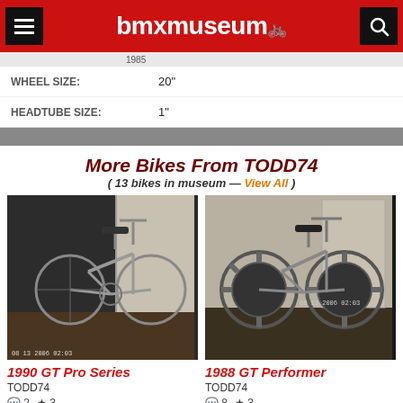bmxmuseum
| Field | Value |
| --- | --- |
| WHEEL SIZE: | 20" |
| HEADTUBE SIZE: | 1" |
More Bikes From TODD74 (13 bikes in museum — View All)
[Figure (photo): 1990 GT Pro Series BMX bike, silver/chrome, photographed indoors on carpet]
1990 GT Pro Series
TODD74
2 comments, 3 stars
[Figure (photo): 1988 GT Performer BMX bike, dark color with mag wheels, photographed indoors]
1988 GT Performer
TODD74
8 comments, 3 stars